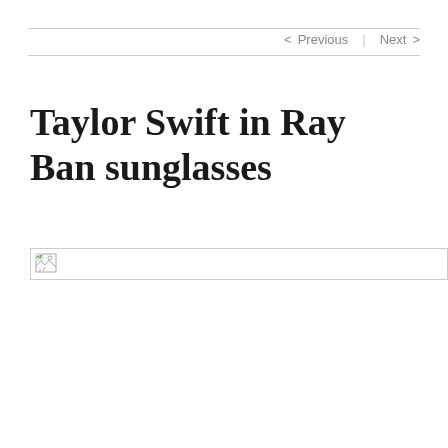< Previous   Next >
Taylor Swift in Ray Ban sunglasses
[Figure (photo): Broken image placeholder for a photo of Taylor Swift in Ray Ban sunglasses]